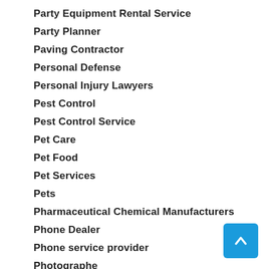Party Equipment Rental Service
Party Planner
Paving Contractor
Personal Defense
Personal Injury Lawyers
Pest Control
Pest Control Service
Pet Care
Pet Food
Pet Services
Pets
Pharmaceutical Chemical Manufacturers
Phone Dealer
Phone service provider
Photographe
Pizza
Plastic